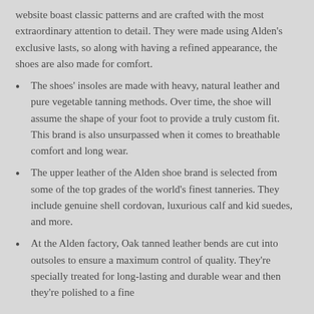website boast classic patterns and are crafted with the most extraordinary attention to detail. They were made using Alden's exclusive lasts, so along with having a refined appearance, the shoes are also made for comfort.
The shoes' insoles are made with heavy, natural leather and pure vegetable tanning methods. Over time, the shoe will assume the shape of your foot to provide a truly custom fit. This brand is also unsurpassed when it comes to breathable comfort and long wear.
The upper leather of the Alden shoe brand is selected from some of the top grades of the world's finest tanneries. They include genuine shell cordovan, luxurious calf and kid suedes, and more.
At the Alden factory, Oak tanned leather bends are cut into outsoles to ensure a maximum control of quality. They're specially treated for long-lasting and durable wear and then they're polished to a fine